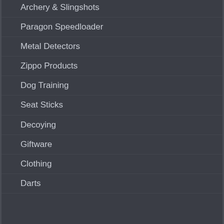Archery & Slingshots
Paragon Speedloader
Metal Detectors
Zippo Products
Dog Training
Seat Sticks
Decoying
Giftware
Clothing
Darts